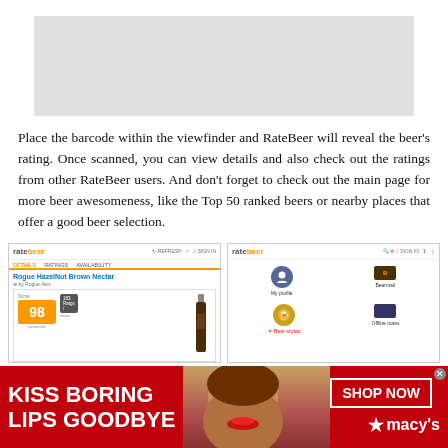[Figure (other): Gray rectangle placeholder for camera viewfinder area]
Place the barcode within the viewfinder and RateBeer will reveal the beer's rating. Once scanned, you can view details and also check out the ratings from other RateBeer users. And don't forget to check out the main page for more beer awesomeness, like the Top 50 ranked beers or nearby places that offer a good beer selection.
[Figure (screenshot): Two RateBeer app screenshots side by side. Left shows Rogue HazelNut Brown Nectar beer detail page with score 98 and rating 183. Right shows RateBeer navigation menu with My profile, Beermail, Beer styles, Offline notes icons.]
[Figure (photo): Macy's advertisement banner with red background, text KISS BORING LIPS GOODBYE, woman with red lips, SHOP NOW button, and Macy's star logo]